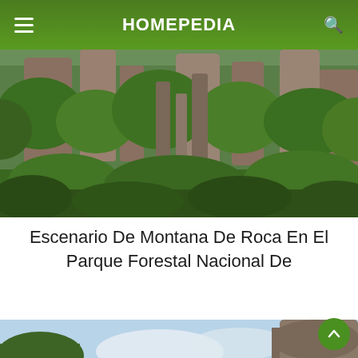HOMEPEDIA
[Figure (photo): Rocky mountain pillars covered in lush green vegetation in a national forest park, tall stone spires rising from dense green trees, dramatic karst landscape]
Escenario De Montana De Roca En El Parque Forestal Nacional De
[Figure (photo): Bottom portion of another nature scene showing rocky cliffs and trees against a blue sky, similar karst landscape]